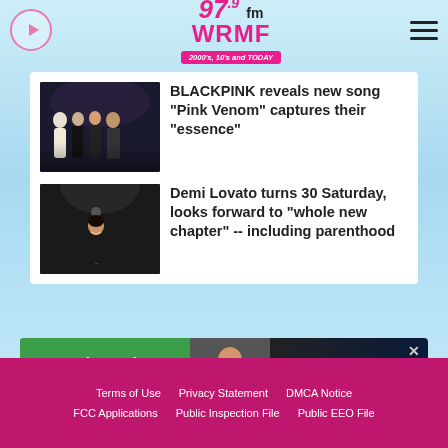[Figure (logo): 97.9 FM WRMF radio station logo with tagline '2000's, 10's and TODAY']
[Figure (photo): BLACKPINK group photo with four members in black outfits]
BLACKPINK reveals new song "Pink Venom" captures their "essence"
[Figure (photo): Demi Lovato performing on stage]
Demi Lovato turns 30 Saturday, looks forward to "whole new chapter" -- including parenthood
[Figure (other): Advertisement banner: See Why Business Owners Love Us — 2060 Digital CLICK TO LEARN MORE]
Terms of Use   Privacy Statement   DMCA Notice   FCC Applications   Public Inspection File   Public EEO File